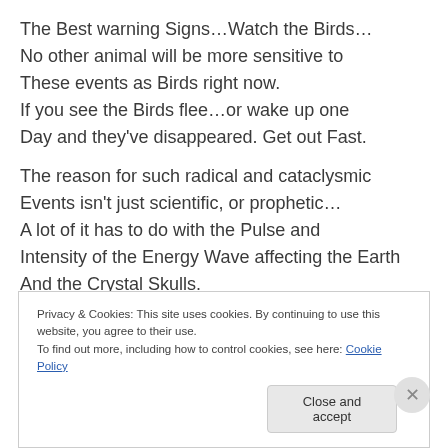The Best warning Signs…Watch the Birds… No other animal will be more sensitive to These events as Birds right now. If you see the Birds flee…or wake up one Day and they've disappeared. Get out Fast.
The reason for such radical and cataclysmic Events isn't just scientific, or prophetic… A lot of it has to do with the Pulse and Intensity of the Energy Wave affecting the Earth And the Crystal Skulls.
Privacy & Cookies: This site uses cookies. By continuing to use this website, you agree to their use. To find out more, including how to control cookies, see here: Cookie Policy
Close and accept